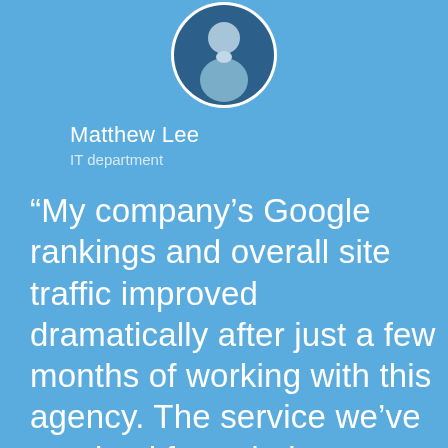[Figure (illustration): Circular avatar illustration of a person with dark blue background, showing a stylized male figure in a light blue shirt]
Matthew Lee
IT department
“My company’s Google rankings and overall site traffic improved dramatically after just a few months of working with this agency. The service we’ve received from their team has